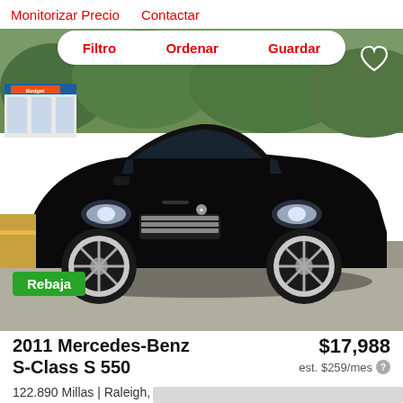Monitorizar Precio   Contactar
Filtro   Ordenar   Guardar
[Figure (photo): Black 2011 Mercedes-Benz S-Class S 550 sedan photographed from a front-three-quarter angle in a parking lot. A Budget rental car facility sign is visible in the background. The car has distinctive AMG-style wheels and chrome grille.]
Rebaja
2011 Mercedes-Benz S-Class S 550
$17,988
est. $259/mes
122.890 Millas | Raleigh, NC